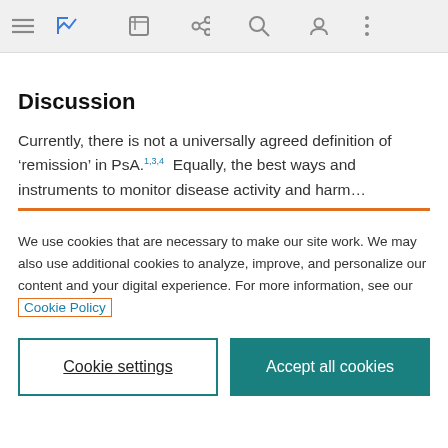Toolbar with navigation icons
Discussion
Currently, there is not a universally agreed definition of 'remission' in PsA.1,3,4 Equally, the best ways and instruments to monitor disease activity and harm…
We use cookies that are necessary to make our site work. We may also use additional cookies to analyze, improve, and personalize our content and your digital experience. For more information, see our Cookie Policy